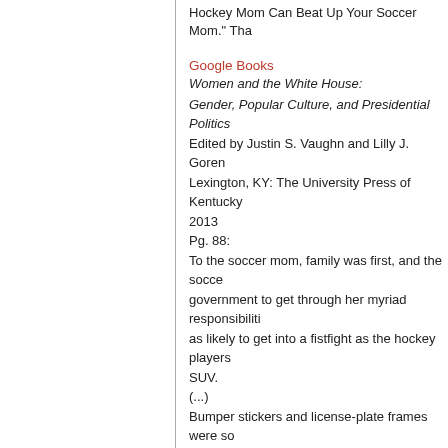Hockey Mom Can Beat Up Your Soccer Mom.” Tha
Google Books
Women and the White House:
Gender, Popular Culture, and Presidential Politics
Edited by Justin S. Vaughn and Lilly J. Goren
Lexington, KY: The University Press of Kentucky
2013
Pg. 88:
To the soccer mom, family was first, and the socce government to get through her myriad responsibiliti as likely to get into a fistfight as the hockey players SUV.
(...)
Bumper stickers and license-plate frames were so cycle emblazoned with the words “My hockey mo mom.”
Posted by Barry Popik
New York City • Sports/Games • Tuesday, Jul